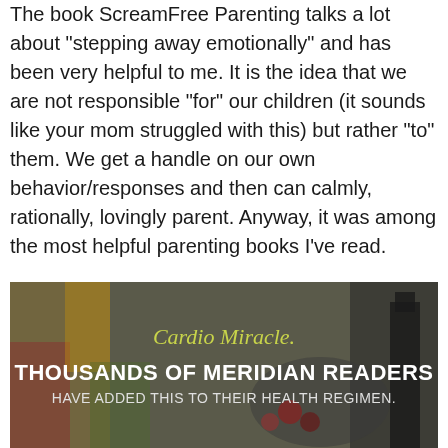The book ScreamFree Parenting talks a lot about "stepping away emotionally" and has been very helpful to me. It is the idea that we are not responsible "for" our children (it sounds like your mom struggled with this) but rather "to" them. We get a handle on our own behavior/responses and then can calmly, rationally, lovingly parent. Anyway, it was among the most helpful parenting books I've read.
[Figure (illustration): Advertisement banner for Cardio Miracle supplement with text 'Cardio Miracle. THOUSANDS OF MERIDIAN READERS HAVE ADDED THIS TO THEIR HEALTH REGIMEN.' overlaid on a dark background showing fruits, vegetables and drinks.]